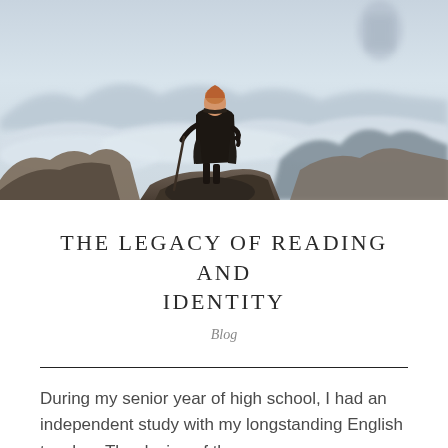[Figure (illustration): Caspar David Friedrich's 'Wanderer above the Sea of Fog' painting — a lone dark-coated figure with a walking stick stands on rocky outcrop overlooking misty mountainous landscape with fog swirling below and a craggy peak in the upper right background.]
THE LEGACY OF READING AND IDENTITY
Blog
During my senior year of high school, I had an independent study with my longstanding English teacher. The design of the course was a